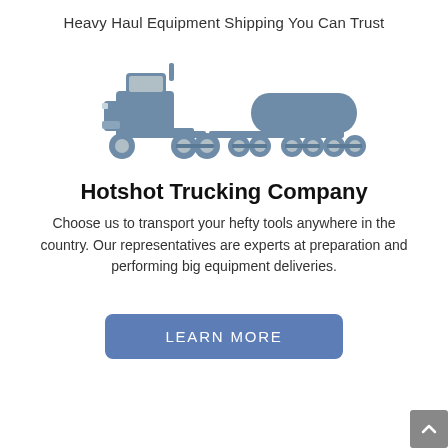Heavy Haul Equipment Shipping You Can Trust
[Figure (illustration): A grey silhouette illustration of a heavy haul truck (cab with sleeper) pulling a flatbed trailer carrying a large cylindrical tank/pipe load, with multiple axles visible.]
Hotshot Trucking Company
Choose us to transport your hefty tools anywhere in the country. Our representatives are experts at preparation and performing big equipment deliveries.
LEARN MORE